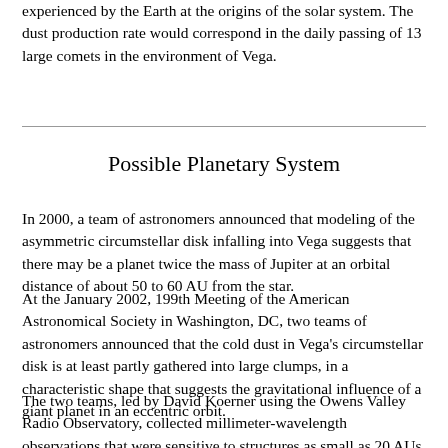experienced by the Earth at the origins of the solar system. The dust production rate would correspond in the daily passing of 13 large comets in the environment of Vega.
Possible Planetary System
In 2000, a team of astronomers announced that modeling of the asymmetric circumstellar disk infalling into Vega suggests that there may be a planet twice the mass of Jupiter at an orbital distance of about 50 to 60 AU from the star.
At the January 2002, 199th Meeting of the American Astronomical Society in Washington, DC, two teams of astronomers announced that the cold dust in Vega's circumstellar disk is at least partly gathered into large clumps, in a characteristic shape that suggests the gravitational influence of a giant planet in an eccentric orbit.
The two teams, led by David Koerner using the Owens Valley Radio Observatory, collected millimeter-wavelength observations that were sensitive to structures as small as 20 AUs. They managed